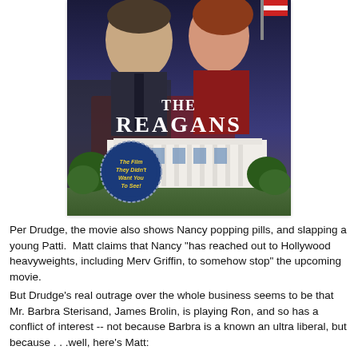[Figure (photo): Movie poster for 'The Reagans' showing two actors portraying Ronald and Nancy Reagan against a backdrop including the White House. Text reads 'THE REAGANS' and a badge reads 'The Film They Didn't Want You To See!']
Per Drudge, the movie also shows Nancy popping pills, and slapping a young Patti.  Matt claims that Nancy "has reached out to Hollywood heavyweights, including Merv Griffin, to somehow stop" the upcoming movie.
But Drudge's real outrage over the whole business seems to be that Mr. Barbra Sterisand, James Brolin, is playing Ron, and so has a conflict of interest -- not because Barbra is a known an ultra liberal, but because . . .well, here's Matt: